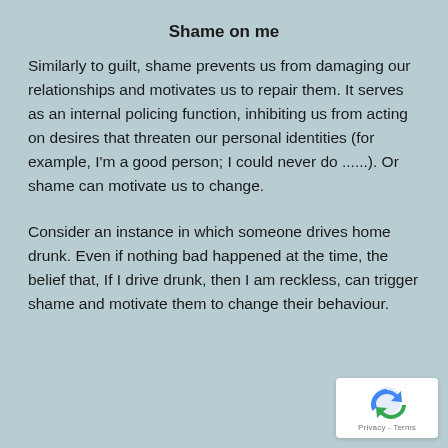Shame on me
Similarly to guilt, shame prevents us from damaging our relationships and motivates us to repair them. It serves as an internal policing function, inhibiting us from acting on desires that threaten our personal identities (for example, I'm a good person; I could never do ......). Or shame can motivate us to change.
Consider an instance in which someone drives home drunk. Even if nothing bad happened at the time, the belief that, If I drive drunk, then I am reckless, can trigger shame and motivate them to change their behaviour.
[Figure (logo): reCAPTCHA badge with logo and Privacy - Terms text]